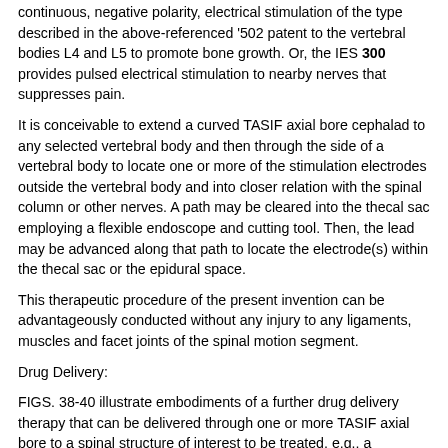continuous, negative polarity, electrical stimulation of the type described in the above-referenced '502 patent to the vertebral bodies L4 and L5 to promote bone growth. Or, the IES 300 provides pulsed electrical stimulation to nearby nerves that suppresses pain.
It is conceivable to extend a curved TASIF axial bore cephalad to any selected vertebral body and then through the side of a vertebral body to locate one or more of the stimulation electrodes outside the vertebral body and into closer relation with the spinal column or other nerves. A path may be cleared into the thecal sac employing a flexible endoscope and cutting tool. Then, the lead may be advanced along that path to locate the electrode(s) within the thecal sac or the epidural space.
This therapeutic procedure of the present invention can be advantageously conducted without any injury to any ligaments, muscles and facet joints of the spinal motion segment.
Drug Delivery:
FIGS. 38-40 illustrate embodiments of a further drug delivery therapy that can be delivered through one or more TASIF axial bore to a spinal structure of interest to be treated, e.g., a vertebral body or spinal disc or to adjoining nerves, tissues, and the spinal column. The drug can take any of the known therapy forms, e.g., drugs for analgesic pain killing or for treatment of a disease or disease process or to promote bone growth. The delivery catheters can take